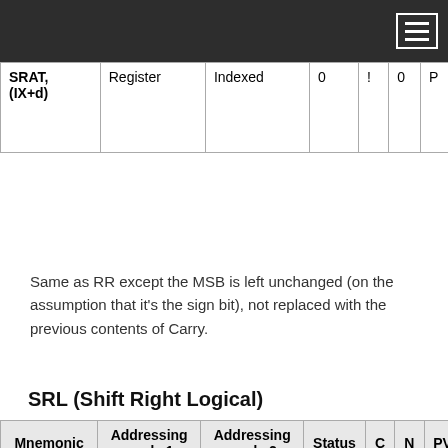| Mnemonic | Addressing mode 1 | Addressing mode 2 | Status | C | N | PV | H | Z |
| --- | --- | --- | --- | --- | --- | --- | --- | --- |
| SRAT, (IX+d) | Register | Indexed | 0 | ! | 0 | P | 0 | S |
Same as RR except the MSB is left unchanged (on the assumption that it's the sign bit), not replaced with the previous contents of Carry.
SRL (Shift Right Logical)
| Mnemonic | Addressing mode 1 | Addressing mode 2 | Status | C | N | PV | H | Z |
| --- | --- | --- | --- | --- | --- | --- | --- | --- |
| SRL r | Register | - | S | ! | 0 | P | 0 | S |
| SRL (HL) | Indirect | - | S | ! | 0 | P | 0 | S |
| SRL (IXY+d) | Indexed | - | S | ! | 0 | P | 0 | S |